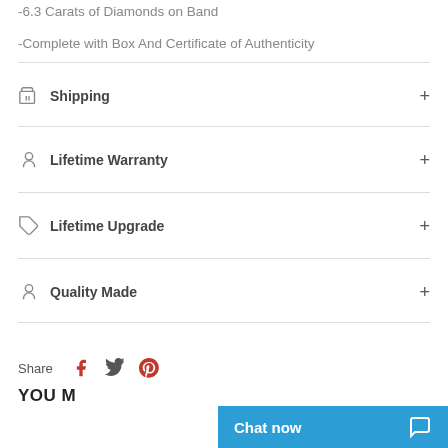-6.3 Carats of Diamonds on Band
-Complete with Box And Certificate of Authenticity
Shipping
Lifetime Warranty
Lifetime Upgrade
Quality Made
Share
YOU M...
Chat now